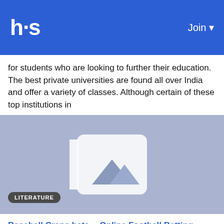hs  Join
for students who are looking to further their education. The best private universities are found all over India and offer a variety of classes. Although certain of these top institutions in
By University Kart  7 days ago  0  7
[Figure (illustration): Image placeholder with mountain/photo icon on blue-grey background with LITERATURE badge overlay]
Baseball Craps bets -- Online Football Betting